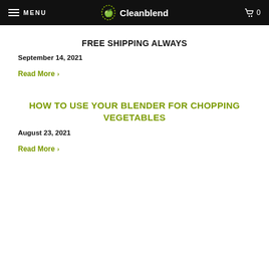MENU  Cleanblend  0
FREE SHIPPING ALWAYS
September 14, 2021
Read More >
HOW TO USE YOUR BLENDER FOR CHOPPING VEGETABLES
August 23, 2021
Read More >